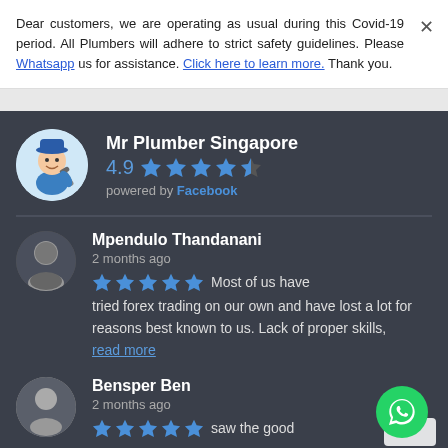Dear customers, we are operating as usual during this Covid-19 period. All Plumbers will adhere to strict safety guidelines. Please Whatsapp us for assistance. Click here to learn more. Thank you.
Mr Plumber Singapore
4.9 ★★★★½
powered by Facebook
Mpendulo Thandanani
2 months ago
★★★★★ Most of us have tried forex trading on our own and have lost a lot for reasons best known to us. Lack of proper skills,
read more
Bensper Ben
2 months ago
★★★★★ saw the good